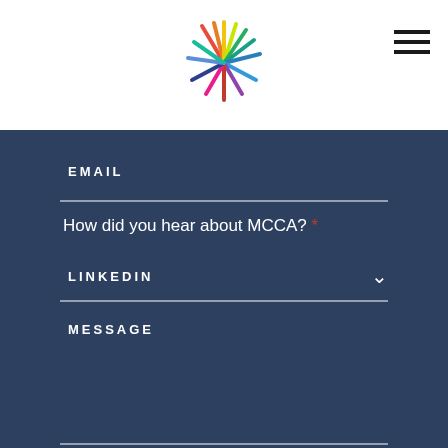[Figure (logo): MCCA colorful starburst/pinwheel logo in multi-color rays]
EMAIL
How did you hear about MCCA? *
LINKEDIN
MESSAGE